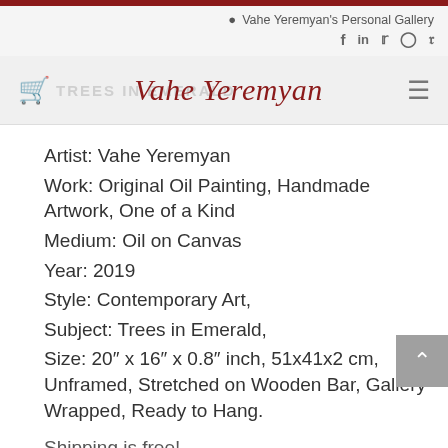Vahe Yeremyan's Personal Gallery
Vahe Yeremyan
Artist: Vahe Yeremyan
Work: Original Oil Painting, Handmade Artwork, One of a Kind
Medium: Oil on Canvas
Year: 2019
Style: Contemporary Art,
Subject: Trees in Emerald,
Size: 20″ x 16″ x 0.8″ inch, 51x41x2 cm, Unframed, Stretched on Wooden Bar, Gallery Wrapped, Ready to Hang.
Shipping is free!